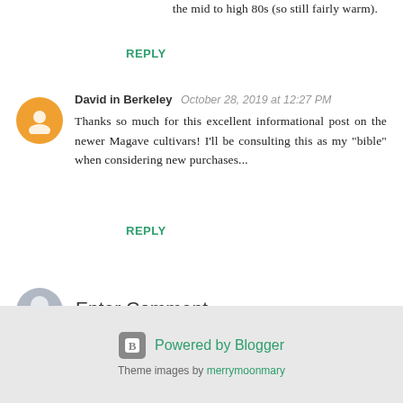the mid to high 80s (so still fairly warm).
REPLY
David in Berkeley  October 28, 2019 at 12:27 PM
Thanks so much for this excellent informational post on the newer Magave cultivars! I'll be consulting this as my "bible" when considering new purchases...
REPLY
Enter Comment
Powered by Blogger
Theme images by merrymoonmary